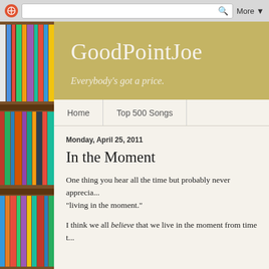[Figure (screenshot): Browser toolbar with Blogger icon, search bar with magnifying glass icon, and More dropdown button]
[Figure (photo): Bookshelf with colorful book spines on the left side]
GoodPointJoe
Everybody's got a price.
Home | Top 500 Songs
Monday, April 25, 2011
In the Moment
One thing you hear all the time but probably never apprecia... "living in the moment."
I think we all believe that we live in the moment from time t...